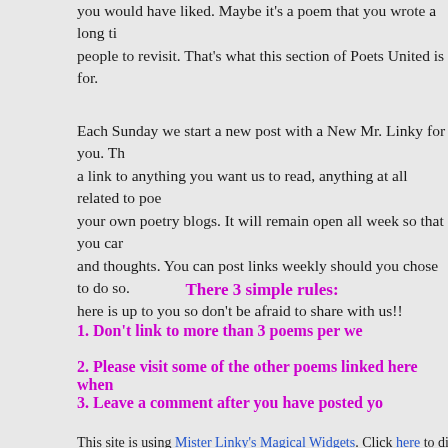you would have liked. Maybe it's a poem that you wrote a long time ago that you'd like people to revisit. That's what this section of Poets United is for.
Each Sunday we start a new post with a New Mr. Linky for you. The idea is to post a link to anything you want us to read, anything at all related to poetry, including your own poetry blogs. It will remain open all week so that you can add links and thoughts. You can post links weekly should you chose to do so. Everything posted here is up to you so don't be afraid to share with us!!
There 3 simple rules:
1. Don't link to more than 3 poems per we
2. Please visit some of the other poems linked here when
3. Leave a comment after you have posted yo
This site is using Mister Linky's Magical Widgets. Click here to dis post.
Blog Owner: You may upgrade to display more than one Linky at a